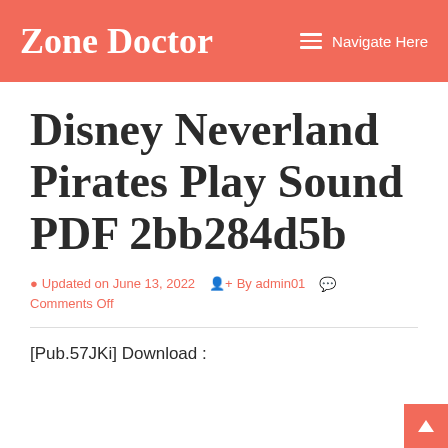Zone Doctor   Navigate Here
Disney Neverland Pirates Play Sound PDF 2bb284d5b
Updated on June 13, 2022   By admin01   Comments Off
[Pub.57JKi] Download :